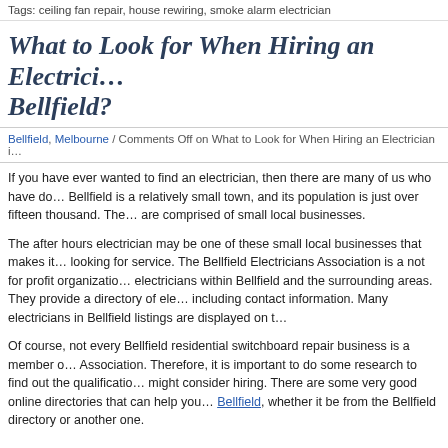Tags: ceiling fan repair, house rewiring, smoke alarm electrician
What to Look for When Hiring an Electrician in Bellfield?
Bellfield, Melbourne / Comments Off on What to Look for When Hiring an Electrician i…
If you have ever wanted to find an electrician, then there are many of us who have do… Bellfield is a relatively small town, and its population is just over fifteen thousand. The… are comprised of small local businesses.
The after hours electrician may be one of these small local businesses that makes it… looking for service. The Bellfield Electricians Association is a not for profit organizatio… electricians within Bellfield and the surrounding areas. They provide a directory of ele… including contact information. Many electricians in Bellfield listings are displayed on t…
Of course, not every Bellfield residential switchboard repair business is a member o… Association. Therefore, it is important to do some research to find out the qualificatio… might consider hiring. There are some very good online directories that can help you… Bellfield, whether it be from the Bellfield directory or another one.